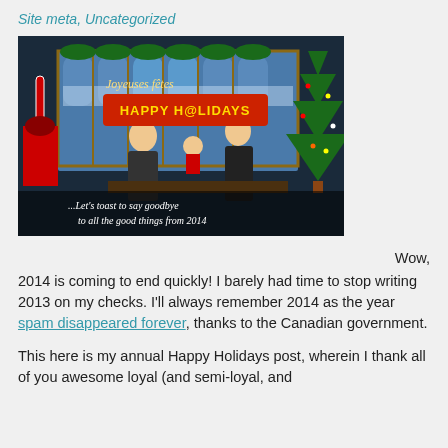Site meta, Uncategorized
[Figure (photo): TV show holiday set with two men seated at a desk, Christmas tree on right, decorations, text overlays reading 'Joyeuses fêtes', 'HAPPY H@LIDAYS', and '...Let's toast to say goodbye to all the good things from 2014']
Wow, 2014 is coming to end quickly! I barely had time to stop writing 2013 on my checks. I'll always remember 2014 as the year spam disappeared forever, thanks to the Canadian government.
This here is my annual Happy Holidays post, wherein I thank all of you awesome loyal (and semi-loyal, and